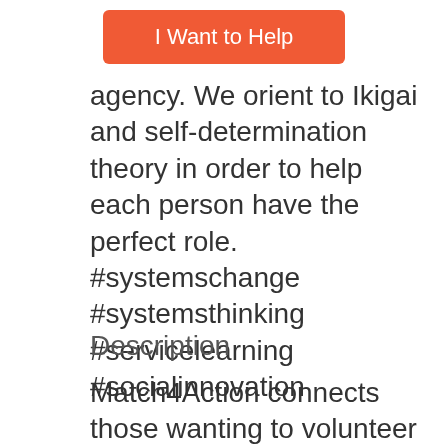[Figure (other): Orange button labeled 'I Want to Help']
agency. We orient to Ikigai and self-determination theory in order to help each person have the perfect role. #systemschange #systemsthinking #servicelearning #socialinnovation
Description
Match4Action connects those wanting to volunteer their skills with those in need for remote or local project support, advice, collaboration and mentoring.
Our smart technology platform uses the latest machine learning, artificial intelligence and virtual assistants to match the demand for resources for social impact with the skills and